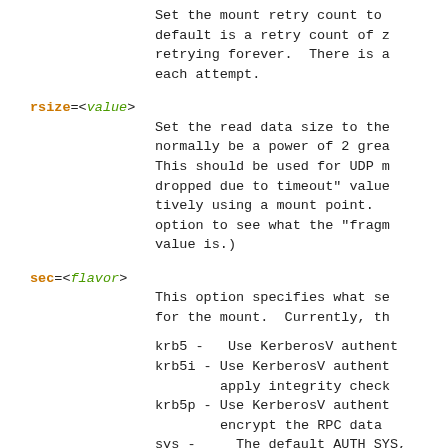Set the mount retry count to... default is a retry count of z... retrying forever. There is a... each attempt.
rsize=<value> - Set the read data size to the... normally be a power of 2 grea... This should be used for UDP m... dropped due to timeout" value... tively using a mount point. ... option to see what the "fragm... value is.)
sec=<flavor> - This option specifies what se... for the mount. Currently, th... krb5 - Use KerberosV authent... krb5i - Use KerberosV authent... apply integrity check... krb5p - Use KerberosV authent... encrypt the RPC data... sys - The default AUTH_SYS,... uid + gid list authe...
soft - A soft mount, which implies t... fail after retrycnt round tri...